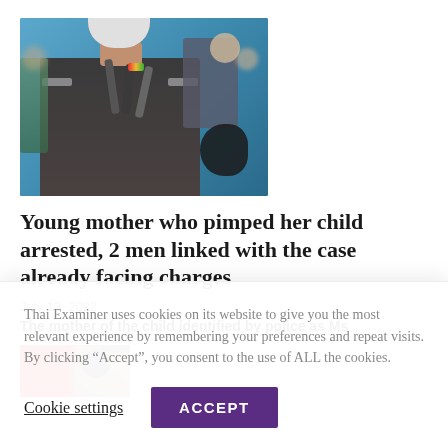[Figure (photo): A police officer wearing a white face mask and police uniform, holding microphones at a press conference, with other people in the background in an office/conference room setting.]
Young mother who pimped her child arrested, 2 men linked with the case already facing charges
July 13, 2022
The mother of the child identified by police as Ms
[Figure (photo): Partial view of a second article's thumbnail photo showing people in red and dark clothing.]
Thai Examiner uses cookies on its website to give you the most relevant experience by remembering your preferences and repeat visits. By clicking “Accept”, you consent to the use of ALL the cookies.